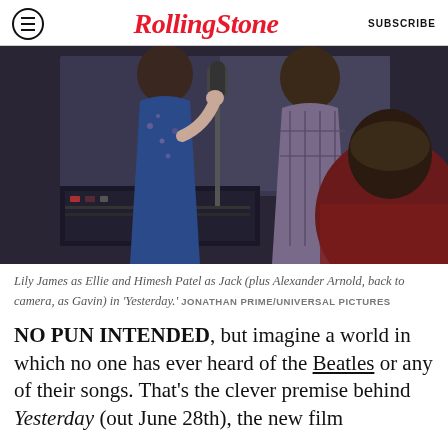Rolling Stone | SUBSCRIBE
[Figure (photo): Film still from Yesterday (2019): Lily James as Ellie and Himesh Patel as Jack singing into a microphone in a recording studio, with Alexander Arnold (as Gavin) visible in the foreground with back to camera wearing a dark red sweater.]
Lily James as Ellie and Himesh Patel as Jack (plus Alexander Arnold, back to camera, as Gavin) in 'Yesterday.' JONATHAN PRIME/UNIVERSAL PICTURES
NO PUN INTENDED, but imagine a world in which no one has ever heard of the Beatles or any of their songs. That's the clever premise behind Yesterday (out June 28th), the new film